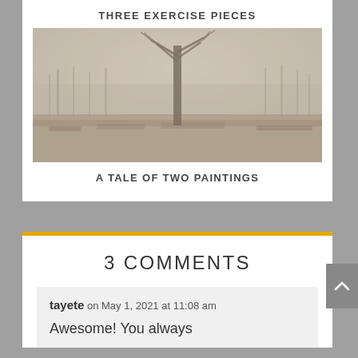THREE EXERCISE PIECES
[Figure (photo): A misty, foggy landscape painting featuring a bare tree in the center foreground with soft, muted beige and grey tones throughout.]
A TALE OF TWO PAINTINGS
3 COMMENTS
tayete on May 1, 2021 at 11:08 am
Awesome! You always